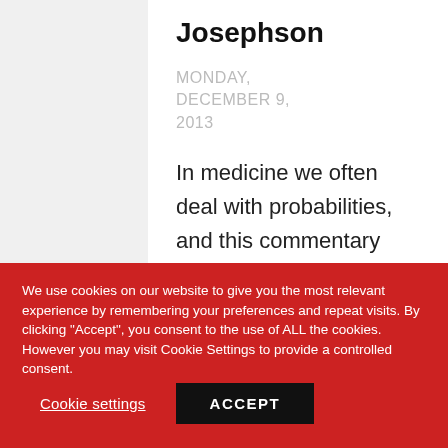Josephson
MONDAY, DECEMBER 9, 2013
In medicine we often deal with probabilities, and this commentary argues
We use cookies on our website to give you the most relevant experience by remembering your preferences and repeat visits. By clicking "Accept", you consent to the use of ALL the cookies. However you may visit Cookie Settings to provide a controlled consent.
Cookie settings
ACCEPT